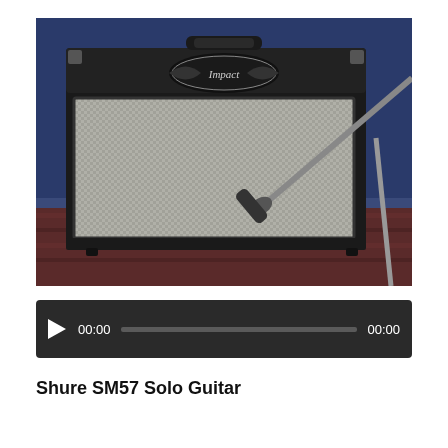[Figure (photo): A guitar amplifier (with a logo resembling 'Impact' or similar brand) with a silver/gray woven speaker grille, black tolex covering, and a microphone on a stand positioned in front of the speaker. The amp sits on a patterned rug against a blue background. A microphone stand arm is visible on the right.]
[Figure (screenshot): An audio player with a dark/black background, a white play button triangle on the left, '00:00' time display, a gray progress bar in the middle, and '00:00' on the right.]
Shure SM57 Solo Guitar